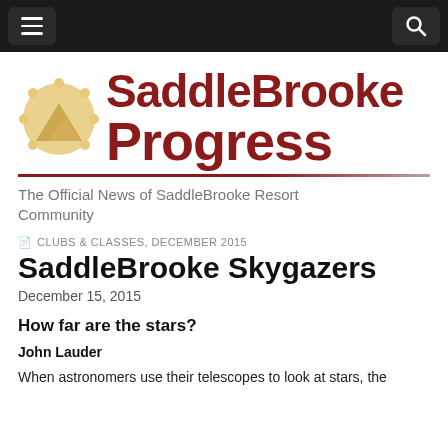Navigation bar with menu and search buttons
[Figure (logo): SaddleBrooke Progress newspaper logo with mountain/sun icon and bold red serif text reading SaddleBrooke Progress]
The Official News of SaddleBrooke Resort Community
CLUBS & CLASSES, DECEMBER 2015
SaddleBrooke Skygazers
December 15, 2015
How far are the stars?
John Lauder
When astronomers use their telescopes to look at stars, the